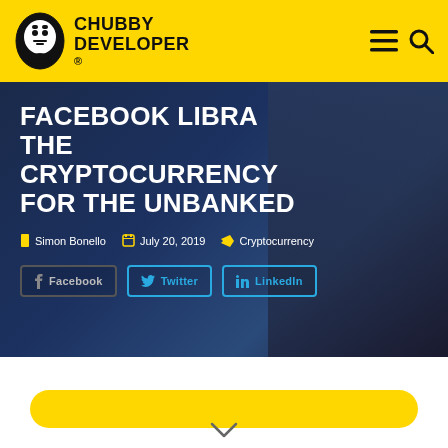CHUBBY DEVELOPER
FACEBOOK LIBRA THE CRYPTOCURRENCY FOR THE UNBANKED
Simon Bonello   July 20, 2019   Cryptocurrency
Facebook  Twitter  LinkedIn
[Figure (other): Yellow rounded bar/pill element at bottom of page]